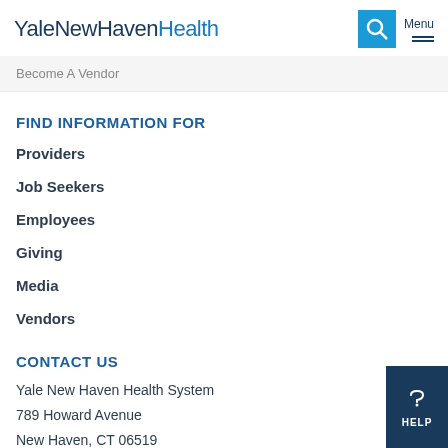YaleNewHavenHealth
Become A Vendor
FIND INFORMATION FOR
Providers
Job Seekers
Employees
Giving
Media
Vendors
CONTACT US
Yale New Haven Health System
789 Howard Avenue
New Haven, CT 06519